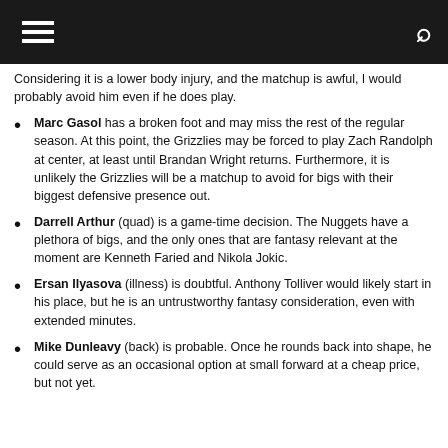Navigation header with hamburger menu and search icon
Considering it is a lower body injury, and the matchup is awful, I would probably avoid him even if he does play.
Marc Gasol has a broken foot and may miss the rest of the regular season. At this point, the Grizzlies may be forced to play Zach Randolph at center, at least until Brandan Wright returns. Furthermore, it is unlikely the Grizzlies will be a matchup to avoid for bigs with their biggest defensive presence out.
Darrell Arthur (quad) is a game-time decision. The Nuggets have a plethora of bigs, and the only ones that are fantasy relevant at the moment are Kenneth Faried and Nikola Jokic.
Ersan Ilyasova (illness) is doubtful. Anthony Tolliver would likely start in his place, but he is an untrustworthy fantasy consideration, even with extended minutes.
Mike Dunleavy (back) is probable. Once he rounds back into shape, he could serve as an occasional option at small forward at a cheap price, but not yet.